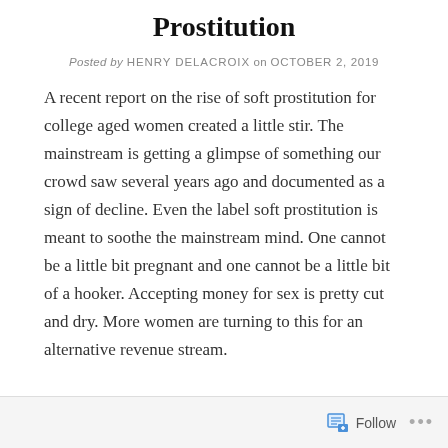Prostitution
Posted by HENRY DELACROIX on OCTOBER 2, 2019
A recent report on the rise of soft prostitution for college aged women created a little stir. The mainstream is getting a glimpse of something our crowd saw several years ago and documented as a sign of decline. Even the label soft prostitution is meant to soothe the mainstream mind. One cannot be a little bit pregnant and one cannot be a little bit of a hooker. Accepting money for sex is pretty cut and dry. More women are turning to this for an alternative revenue stream.
Follow